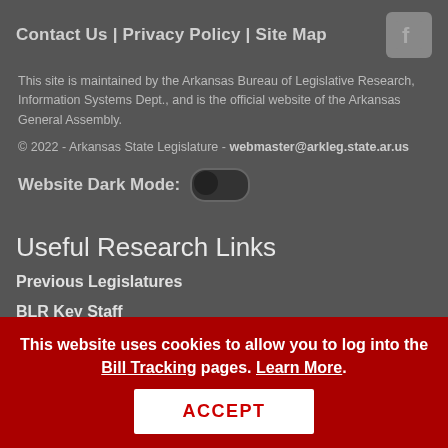Contact Us | Privacy Policy | Site Map
This site is maintained by the Arkansas Bureau of Legislative Research, Information Systems Dept., and is the official website of the Arkansas General Assembly.
© 2022 - Arkansas State Legislature - webmaster@arkleg.state.ar.us
Website Dark Mode:
Useful Research Links
Previous Legislatures
BLR Key Staff
BLR Publications
This website uses cookies to allow you to log into the Bill Tracking pages. Learn More.
ACCEPT